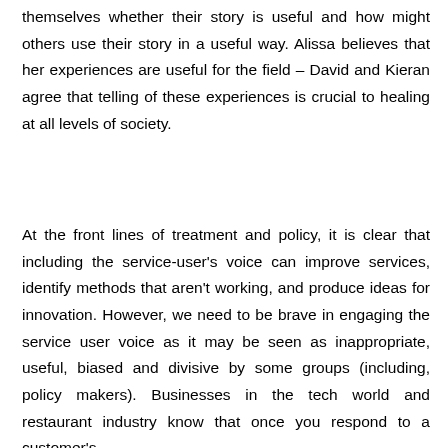themselves whether their story is useful and how might others use their story in a useful way. Alissa believes that her experiences are useful for the field – David and Kieran agree that telling of these experiences is crucial to healing at all levels of society.
At the front lines of treatment and policy, it is clear that including the service-user's voice can improve services, identify methods that aren't working, and produce ideas for innovation. However, we need to be brave in engaging the service user voice as it may be seen as inappropriate, useful, biased and divisive by some groups (including, policy makers). Businesses in the tech world and restaurant industry know that once you respond to a customer's